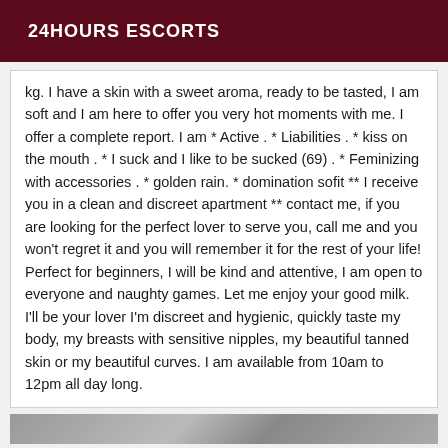24HOURS ESCORTS
kg. I have a skin with a sweet aroma, ready to be tasted, I am soft and I am here to offer you very hot moments with me. I offer a complete report. I am * Active . * Liabilities . * kiss on the mouth . * I suck and I like to be sucked (69) . * Feminizing with accessories . * golden rain. * domination sofit ** I receive you in a clean and discreet apartment ** contact me, if you are looking for the perfect lover to serve you, call me and you won't regret it and you will remember it for the rest of your life! Perfect for beginners, I will be kind and attentive, I am open to everyone and naughty games. Let me enjoy your good milk. I'll be your lover I'm discreet and hygienic, quickly taste my body, my breasts with sensitive nipples, my beautiful tanned skin or my beautiful curves. I am available from 10am to 12pm all day long.
[Figure (photo): Partial photo strip visible at bottom of page]